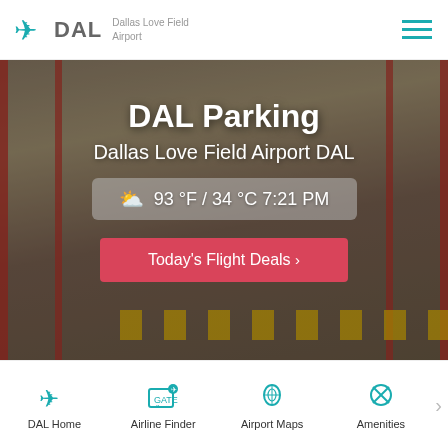DAL Dallas Love Field Airport
[Figure (screenshot): Hero image of airport parking garage with woman pulling luggage, overlaid with text 'DAL Parking' and 'Dallas Love Field Airport DAL', weather widget showing 93°F / 34°C 7:21 PM, and Today's Flight Deals button]
DAL Parking
Dallas Love Field Airport DAL
93 °F / 34 °C 7:21 PM
Today's Flight Deals >
DAL Home
Airline Finder
Airport Maps
Amenities